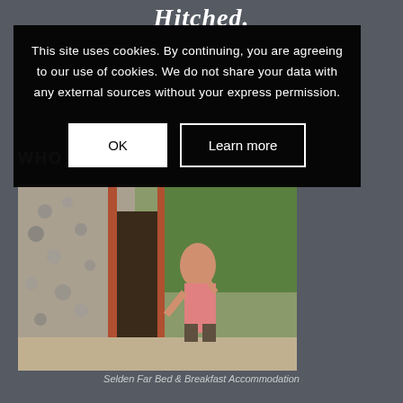Hitched.
WHO WE ARE
SELDEN BED & BREAKFAST
[Figure (photo): Outdoor photo of a person near a flint stone building wall with red brick accents, greenery in background, sunny day.]
This site uses cookies. By continuing, you are agreeing to our use of cookies. We do not share your data with any external sources without your express permission.
OK
Learn more
Selden Far Bed & Breakfast Accommodation